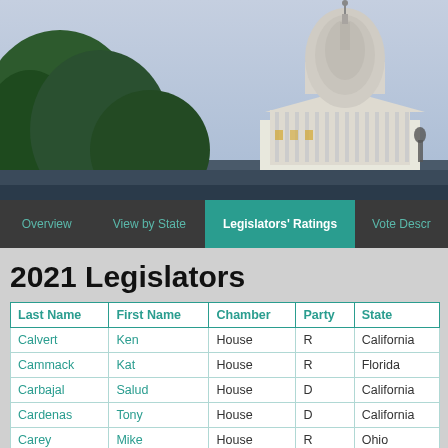[Figure (photo): US Capitol building at dusk with trees in foreground, illuminated dome against a blue sky]
Overview | View by State | Legislators' Ratings | Vote Descr
2021 Legislators
| Last Name | First Name | Chamber | Party | State |
| --- | --- | --- | --- | --- |
| Calvert | Ken | House | R | California |
| Cammack | Kat | House | R | Florida |
| Carbajal | Salud | House | D | California |
| Cardenas | Tony | House | D | California |
| Carey | Mike | House | R | Ohio |